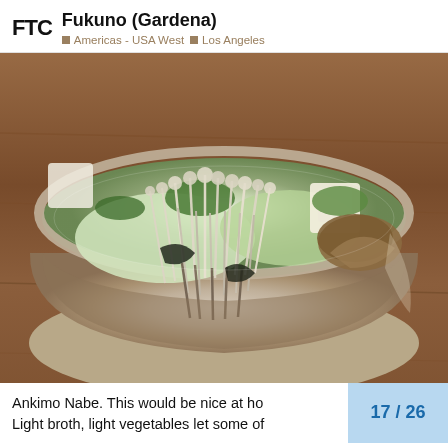FTC Fukuno (Gardena) — Americas - USA West — Los Angeles
[Figure (photo): A Japanese nabe (hot pot) dish served in a rustic ceramic bowl. The bowl contains enoki mushrooms, napa cabbage, tofu, zucchini, and other vegetables in a light broth, placed on a wooden surface.]
Ankimo Nabe. This would be nice at ho Light broth, light vegetables let some of
17 / 26